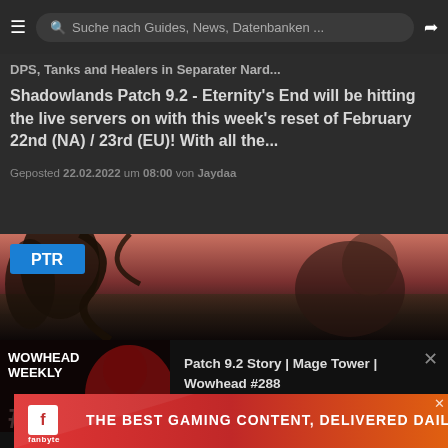Suche nach Guides, News, Datenbanken ...
DPS, Tanks and Healers in Separater Nard...
Shadowlands Patch 9.2 - Eternity's End will be hitting the live servers on with this week's reset of February 22nd (NA) / 23rd (EU)! With all the...
Geposted 22.02.2022 um 08:00 von Jaydaa
[Figure (screenshot): PTR game screenshot with PTR badge overlay showing dark fantasy game scene]
[Figure (screenshot): Wowhead Weekly #288 overlay featuring Patch 9.2 Story | Mage Tower | Wowhead #288 podcast episode thumbnail with cartoon characters]
[Figure (illustration): Fanbyte advertisement banner: THE BEST GAMING CONTENT, DELIVERED DAILY]